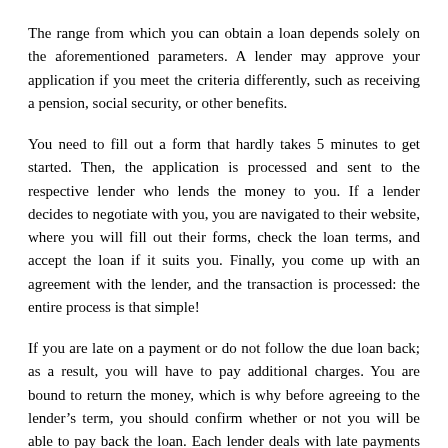The range from which you can obtain a loan depends solely on the aforementioned parameters. A lender may approve your application if you meet the criteria differently, such as receiving a pension, social security, or other benefits.
You need to fill out a form that hardly takes 5 minutes to get started. Then, the application is processed and sent to the respective lender who lends the money to you. If a lender decides to negotiate with you, you are navigated to their website, where you will fill out their forms, check the loan terms, and accept the loan if it suits you. Finally, you come up with an agreement with the lender, and the transaction is processed: the entire process is that simple!
If you are late on a payment or do not follow the due loan back; as a result, you will have to pay additional charges. You are bound to return the money, which is why before agreeing to the lender’s term, you should confirm whether or not you will be able to pay back the loan. Each lender deals with late payments differently. The repayment dates are made part of the terms. The lenders solely set the interest rates; MoneyMutual does not interfere with the agreement.